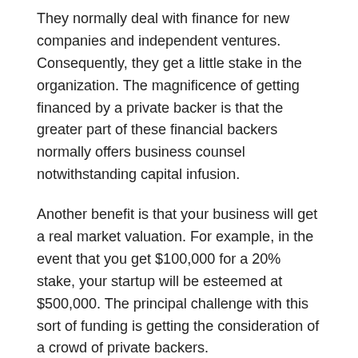They normally deal with finance for new companies and independent ventures. Consequently, they get a little stake in the organization. The magnificence of getting financed by a private backer is that the greater part of these financial backers normally offers business counsel notwithstanding capital infusion.
Another benefit is that your business will get a real market valuation. For example, in the event that you get $100,000 for a 20% stake, your startup will be esteemed at $500,000. The principal challenge with this sort of funding is getting the consideration of a crowd of private backers.
2. Individual Savings
Getting support from outsiders when you're simply firing up is a major test. All things considered, there are a large number